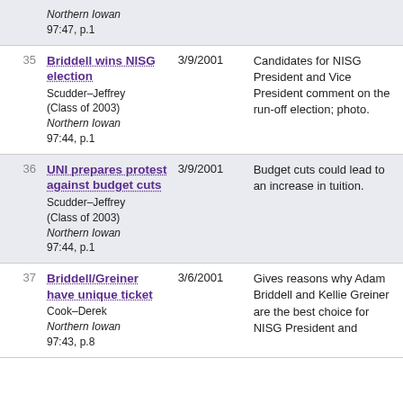| # | Title / Source | Date | Description |
| --- | --- | --- | --- |
|  | Northern Iowan 97:47, p.1 |  |  |
| 35 | Briddell wins NISG election
Scudder–Jeffrey (Class of 2003)
Northern Iowan 97:44, p.1 | 3/9/2001 | Candidates for NISG President and Vice President comment on the run-off election; photo. |
| 36 | UNI prepares protest against budget cuts
Scudder–Jeffrey (Class of 2003)
Northern Iowan 97:44, p.1 | 3/9/2001 | Budget cuts could lead to an increase in tuition. |
| 37 | Briddell/Greiner have unique ticket
Cook–Derek
Northern Iowan 97:43, p.8 | 3/6/2001 | Gives reasons why Adam Briddell and Kellie Greiner are the best choice for NISG President and |